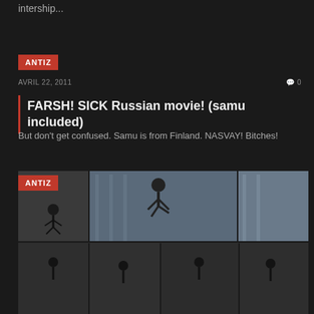intership...
ANTIZ
AVRIL 22, 2011   0
FARSH! SICK Russian movie! (samu included)
But don't get confused. Samu is from Finland. NASVAY! Bitches!
ANTIZ
[Figure (photo): Skateboarding photo sequence showing a skater performing tricks in an urban setting with glass buildings in the background, split into multiple frames]